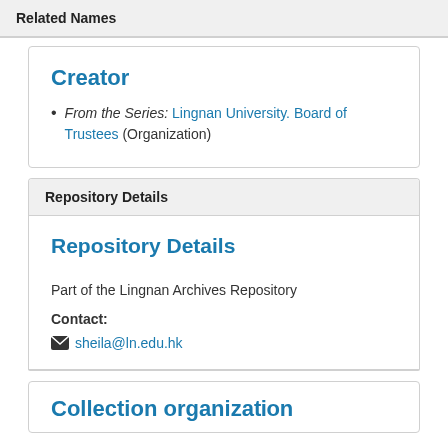Related Names
Creator
From the Series: Lingnan University. Board of Trustees (Organization)
Repository Details
Repository Details
Part of the Lingnan Archives Repository
Contact:
sheila@ln.edu.hk
Collection organization